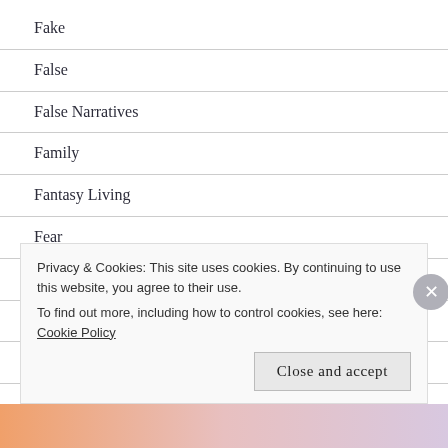Fake
False
False Narratives
Family
Fantasy Living
Fear
Feeling Like A Burden
Feelings
Fellowship
Privacy & Cookies: This site uses cookies. By continuing to use this website, you agree to their use.
To find out more, including how to control cookies, see here: Cookie Policy
Close and accept